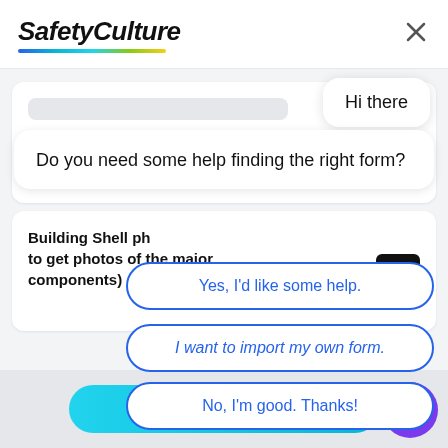[Figure (screenshot): SafetyCulture app interface showing a form template page with a chatbot overlay. The chatbot shows a 'Hi there' greeting bubble, followed by 'Do you need some help finding the right form?' and three reply options: 'Yes, I'd like some help.', 'I want to import my own form.', and 'No, I'm good. Thanks!'. The page background shows form sections including 'Soffit/Undercar' and 'Building Shell ph...' with a 'Use this Template' button at the bottom.]